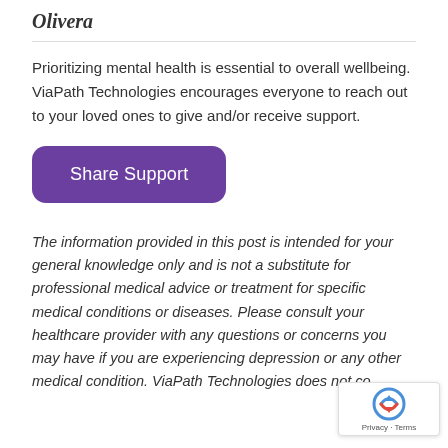Olivera
Prioritizing mental health is essential to overall wellbeing. ViaPath Technologies encourages everyone to reach out to your loved ones to give and/or receive support.
[Figure (other): Purple rounded button labeled 'Share Support']
The information provided in this post is intended for your general knowledge only and is not a substitute for professional medical advice or treatment for specific medical conditions or diseases. Please consult your healthcare provider with any questions or concerns you may have if you are experiencing depression or any other medical condition. ViaPath Technologies does not co...